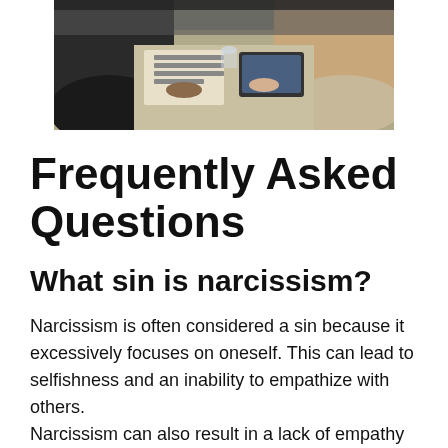[Figure (photo): People sitting around a meeting table with documents and tablets, shot from above at an angle showing hands and upper bodies]
Frequently Asked Questions
What sin is narcissism?
Narcissism is often considered a sin because it excessively focuses on oneself. This can lead to selfishness and an inability to empathize with others.
Narcissism can also result in a lack of empathy for others and a focus on one's